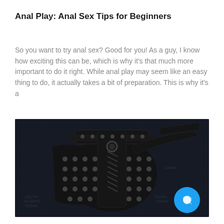Anal Play: Anal Sex Tips for Beginners
So you want to try anal sex? Good for you! As a guy, I know how exciting this can be, which is why it's that much more important to do it right. While anal play may seem like an easy thing to do, it actually takes a bit of preparation. This is why it's a
[Figure (photo): Dark photograph of a leather harness/restraint accessory with metal studs and buckles, placed on a dark map background. A blue chat bubble button is visible in the lower right corner.]